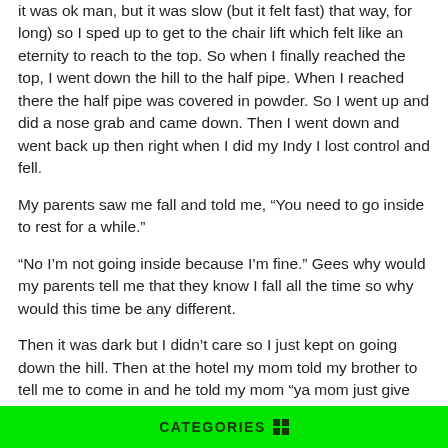it was ok man, but it was slow (but it felt fast) that way, for long) so I sped up to get to the chair lift which felt like an eternity to reach to the top. So when I finally reached the top, I went down the hill to the half pipe. When I reached there the half pipe was covered in powder. So I went up and did a nose grab and came down. Then I went down and went back up then right when I did my Indy I lost control and fell.
My parents saw me fall and told me, “You need to go inside to rest for a while.”
“No I’m not going inside because I’m fine.” Gees why would my parents tell me that they know I fall all the time so why would this time be any different.
Then it was dark but I didn’t care so I just kept on going down the hill. Then at the hotel my mom told my brother to tell me to come in and he told my mom “ya mom just give me a megaphone and some earplugs and I’ll do it.”
CATEGORIES